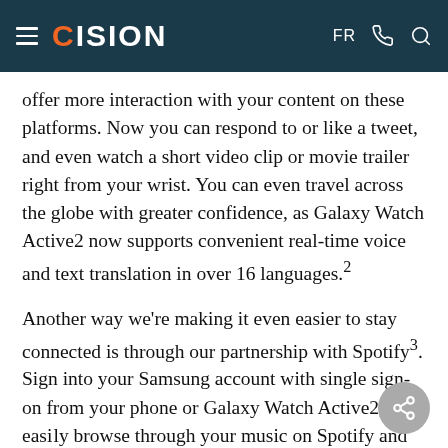CISION — FR
offer more interaction with your content on these platforms. Now you can respond to or like a tweet, and even watch a short video clip or movie trailer right from your wrist. You can even travel across the globe with greater confidence, as Galaxy Watch Active2 now supports convenient real-time voice and text translation in over 16 languages.²
Another way we're making it even easier to stay connected is through our partnership with Spotify³. Sign into your Samsung account with single sign-on from your phone or Galaxy Watch Active2, and easily browse through your music on Spotify and enjoy a